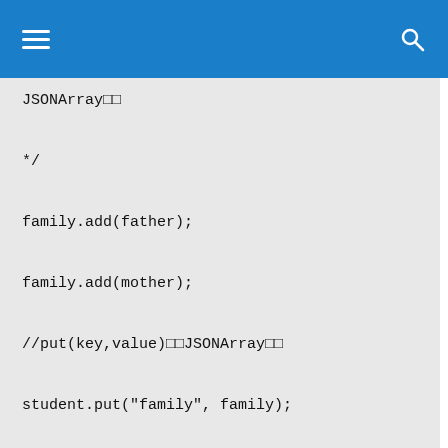≡  🔍
JSONArray□□
*/
family.add(father);
family.add(mother);
//put(key,value)□□JSONArray□□
student.put("family", family);
/*
* JSONObject□□□□□□□get(key)□□
* key□□□
*/
System.out.println(student.get("name"));